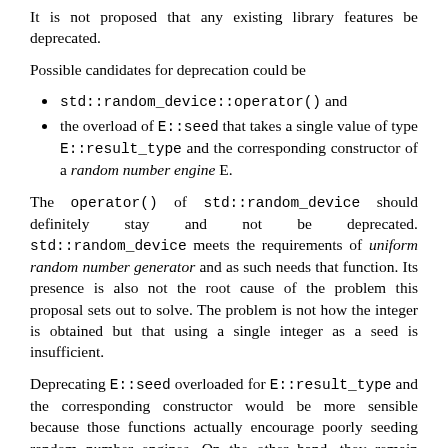It is not proposed that any existing library features be deprecated.
Possible candidates for deprecation could be
std::random_device::operator() and
the overload of E::seed that takes a single value of type E::result_type and the corresponding constructor of a random number engine E.
The operator() of std::random_device should definitely stay and not be deprecated. std::random_device meets the requirements of uniform random number generator and as such needs that function. Its presence is also not the root cause of the problem this proposal sets out to solve. The problem is not how the integer is obtained but that using a single integer as a seed is insufficient.
Deprecating E::seed overloaded for E::result_type and the corresponding constructor would be more sensible because those functions actually encourage poorly seeding random number engines. On the other hand, they remain useful in situations where people want to hard-code a specific seed (such as in std::mt19937 {42}) and don't really care about